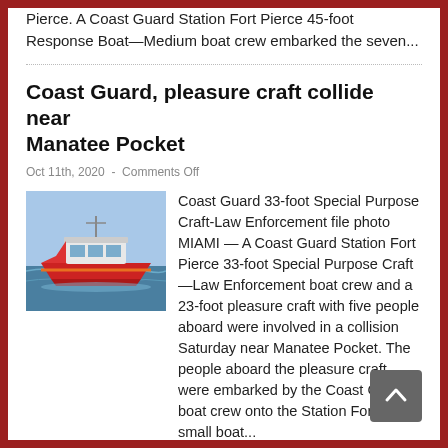Pierce. A Coast Guard Station Fort Pierce 45-foot Response Boat—Medium boat crew embarked the seven...
Coast Guard, pleasure craft collide near Manatee Pocket
Oct 11th, 2020 - Comments Off
[Figure (photo): Coast Guard 33-foot Special Purpose Craft-Law Enforcement vessel on water]
Coast Guard 33-foot Special Purpose Craft-Law Enforcement file photo MIAMI — A Coast Guard Station Fort Pierce 33-foot Special Purpose Craft—Law Enforcement boat crew and a 23-foot pleasure craft with five people aboard were involved in a collision Saturday near Manatee Pocket. The people aboard the pleasure craft were embarked by the Coast Guard boat crew onto the Station Fort Pierce small boat...
Coast Guard interdicts 14 Haitian migrants